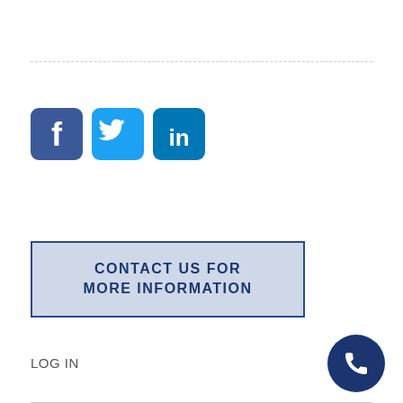[Figure (illustration): Dashed horizontal separator line]
[Figure (illustration): Social media icons: Facebook (blue square with f), Twitter (light blue square with bird), LinkedIn (blue square with 'in')]
CONTACT US FOR MORE INFORMATION
LOG IN
[Figure (illustration): Dark navy blue circular phone/call button with white telephone handset icon, positioned bottom right]